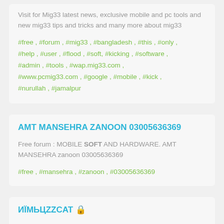Visit for Mig33 latest news, exclusive mobile and pc tools and new mig33 tips and tricks and many more about mig33
#free , #forum , #mig33 , #bangladesh , #this , #only , #help , #user , #flood , #soft, #kicking , #software , #admin , #tools , #wap.mig33.com , #www.pcmig33.com , #google , #mobile , #kick , #nurullah , #jamalpur
AMT MANSEHRA ZANOON 03005636369
Free forum : MOBILE SOFT AND HARDWARE. AMT MANSEHRA zanoon 03005636369
#free , #mansehra , #zanoon , #03005636369
ИЇМЬЦZZCAT 🔒
Forum : Best Soft For Nimbuzz